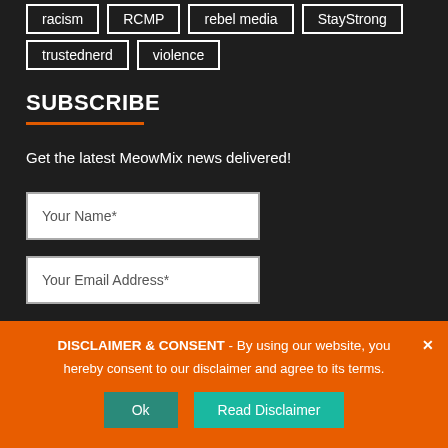racism
RCMP
rebel media
StayStrong
trustednerd
violence
SUBSCRIBE
Get the latest MeowMix news delivered!
Your Name*
Your Email Address*
DISCLAIMER & CONSENT - By using our website, you hereby consent to our disclaimer and agree to its terms.